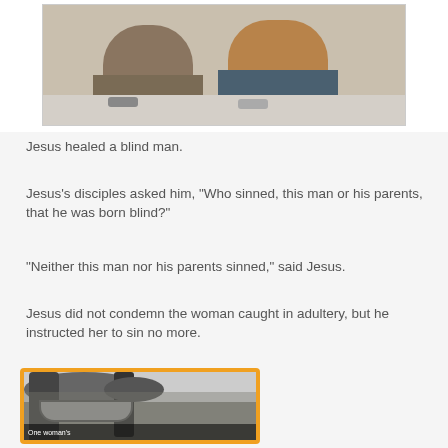[Figure (photo): Two robed figures kneeling on the ground, one in brown/grey robe and one in orange/teal robe]
Jesus healed a blind man.
Jesus's disciples asked him, "Who sinned, this man or his parents, that he was born blind?"
"Neither this man nor his parents sinned," said Jesus.
Jesus did not condemn the woman caught in adultery, but he instructed her to sin no more.
[Figure (photo): Black and white photo of a hammock hanging between trees, with caption 'One woman's']
One woman's